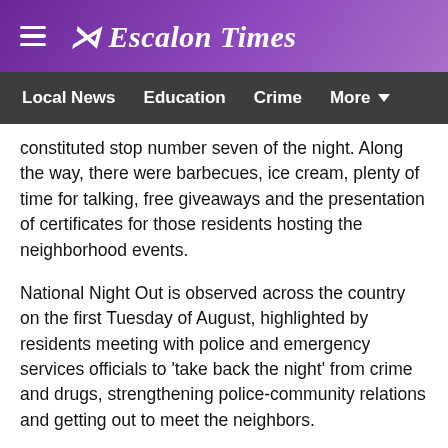≡ Escalon Times
Local News   Education   Crime   More ▼
constituted stop number seven of the night. Along the way, there were barbecues, ice cream, plenty of time for talking, free giveaways and the presentation of certificates for those residents hosting the neighborhood events.
National Night Out is observed across the country on the first Tuesday of August, highlighted by residents meeting with police and emergency services officials to 'take back the night' from crime and drugs, strengthening police-community relations and getting out to meet the neighbors.
Stops in Escalon started on Chianti Court, proceeded to Jonathan Court, Mission Street, Brayton Avenue, Saron Lutheran Church on North Street, Adriana/Danielle and the final stop on Edgetown, at the south end of the city.